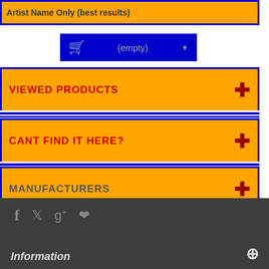Artist Name Only (best results)
[Figure (screenshot): Shopping cart widget showing '(empty)' with dropdown arrow on blue background]
VIEWED PRODUCTS
CANT FIND IT HERE?
MANUFACTURERS
SITE INFO LINKS
[Figure (infographic): Social media icons: Facebook, Twitter, Google+, Pinterest on dark gray footer bar]
Information